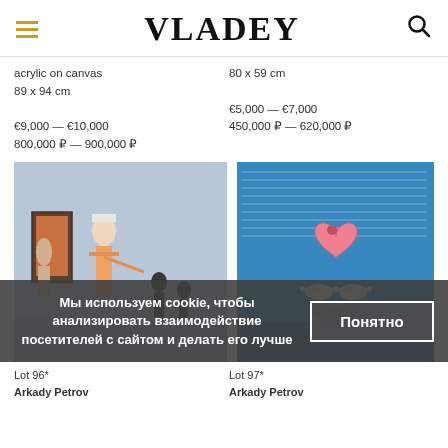VLADEY
acrylic on canvas
89 x 94 cm

€9,000 — €10,000
800,000 ₽ — 900,000 ₽
80 x 59 cm

€5,000 — €7,000
450,000 ₽ — 620,000 ₽
[Figure (photo): Painting showing stylized figures in an art studio or gallery setting, with mannequin-like forms and a framed canvas]
[Figure (photo): Colorful painting with handwritten text overlay showing a heart shape and white doves against a blue background]
Мы используем cookie, чтобы анализировать взаимодействие посетителей с сайтом и делать его лучше
Понятно
Lot 96*
Arkady Petrov
Lot 97*
Arkady Petrov